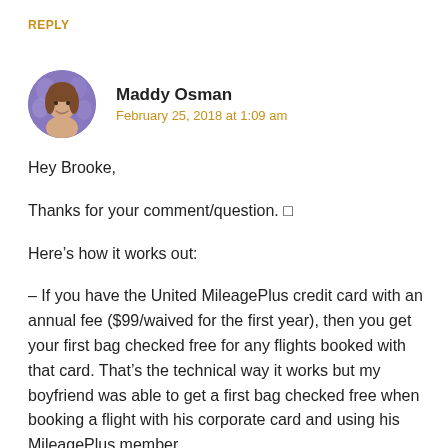REPLY
Maddy Osman
February 25, 2018 at 1:09 am
Hey Brooke,
Thanks for your comment/question. □
Here’s how it works out:
– If you have the United MileagePlus credit card with an annual fee ($99/waived for the first year), then you get your first bag checked free for any flights booked with that card. That’s the technical way it works but my boyfriend was able to get a first bag checked free when booking a flight with his corporate card and using his MileagePlus member